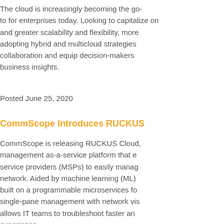The cloud is increasingly becoming the go-to for enterprises today. Looking to capitalize on greater scalability and flexibility, more are adopting hybrid and multicloud strategies to drive collaboration and equip decision-makers with better business insights.
Posted June 25, 2020
CommScope Introduces RUCKUS
CommScope is releasing RUCKUS Cloud, a management as-a-service platform that enables service providers (MSPs) to easily manage their network. Aided by machine learning (ML) and built on a programmable microservices for single-pane management with network visibility that allows IT teams to troubleshoot faster and improve experience.